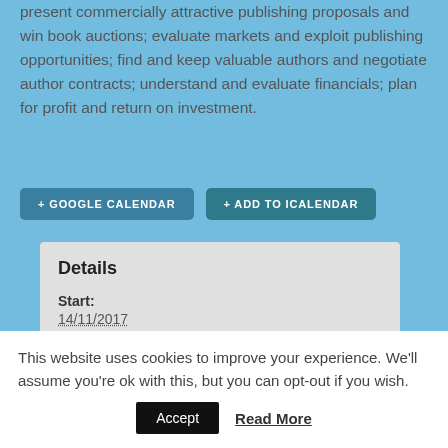present commercially attractive publishing proposals and win book auctions; evaluate markets and exploit publishing opportunities; find and keep valuable authors and negotiate author contracts; understand and evaluate financials; plan for profit and return on investment.
+ GOOGLE CALENDAR
+ ADD TO ICALENDAR
Details
Start:
14/11/2017
End:
This website uses cookies to improve your experience. We'll assume you're ok with this, but you can opt-out if you wish.
Accept
Read More